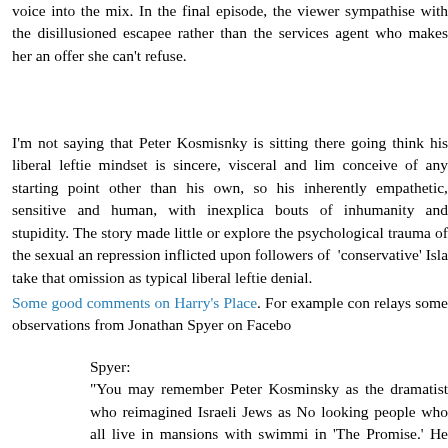voice into the mix. In the final episode, the viewer sympathise with the disillusioned escapee rather than the services agent who makes her an offer she can't refuse.
I'm not saying that Peter Kosmisnky is sitting there going think his liberal leftie mindset is sincere, visceral and lim conceive of any starting point other than his own, so his inherently empathetic, sensitive and human, with inexplic bouts of inhumanity and stupidity. The story made little or explore the psychological trauma of the sexual and repression inflicted upon followers of 'conservative' Isla take that omission as typical liberal leftie denial.
Some good comments on Harry's Place. For example con relays some observations from Jonathan Spyer on Facebo
Spyer:
"You may remember Peter Kosminsky as the dramatist who reimagined Israeli Jews as No looking people who all live in mansions with swimm in 'The Promise.' He has now topped this fea imagination with his new series, 'The State